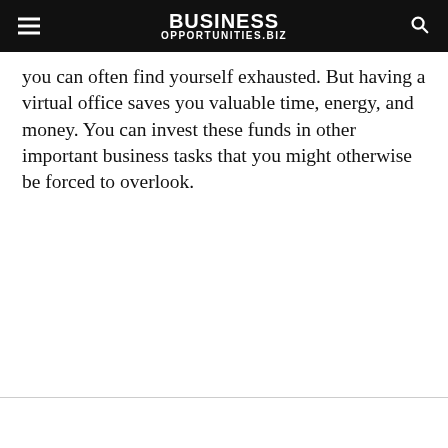BUSINESS OPPORTUNITIES.BIZ
you can often find yourself exhausted. But having a virtual office saves you valuable time, energy, and money. You can invest these funds in other important business tasks that you might otherwise be forced to overlook.